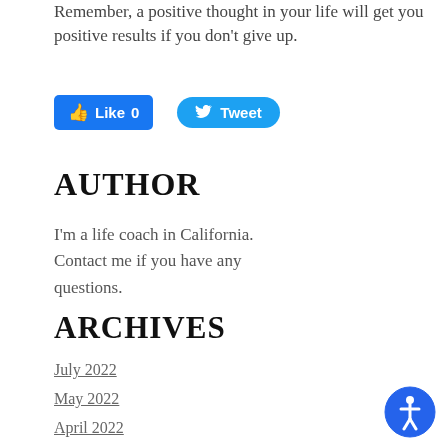Remember, a positive thought in your life will get you positive results if you don't give up.
[Figure (screenshot): Social media buttons: Facebook Like (0) button and Twitter Tweet button]
AUTHOR
I'm a life coach in California. Contact me if you have any questions.
ARCHIVES
July 2022
May 2022
April 2022
February 2022
January 2022
September 2021
July 2021
[Figure (illustration): Accessibility icon button (blue circle with person figure)]